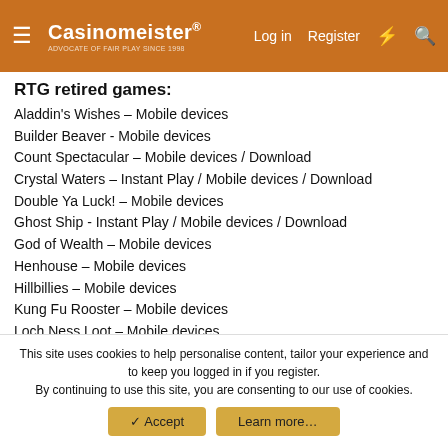Casinomeister® — Log in  Register
RTG retired games:
Aladdin's Wishes – Mobile devices
Builder Beaver - Mobile devices
Count Spectacular – Mobile devices / Download
Crystal Waters – Instant Play / Mobile devices / Download
Double Ya Luck! – Mobile devices
Ghost Ship - Instant Play / Mobile devices / Download
God of Wealth – Mobile devices
Henhouse – Mobile devices
Hillbillies – Mobile devices
Kung Fu Rooster – Mobile devices
Loch Ness Loot – Mobile devices
Lucky 8 – Mobile devices
Megaquarium – Mobile devices
This site uses cookies to help personalise content, tailor your experience and to keep you logged in if you register. By continuing to use this site, you are consenting to our use of cookies.